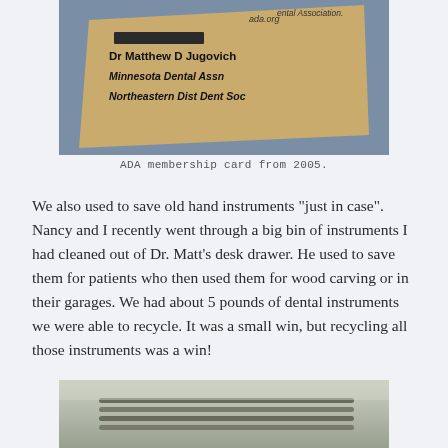[Figure (photo): Photo of a golden ADA membership card showing 'Dr Matthew D Jugovich, Minnesota Dental Assn, Northeastern Dist Dent Soc' with website ada.org and text 'ental Association']
ADA membership card from 2005.
We also used to save old hand instruments "just in case". Nancy and I recently went through a big bin of instruments I had cleaned out of Dr. Matt's desk drawer. He used to save them for patients who then used them for wood carving or in their garages. We had about 5 pounds of dental instruments we were able to recycle. It was a small win, but recycling all those instruments was a win!
[Figure (photo): Photo of dental instruments bundled in a clear plastic bag or wrapper]